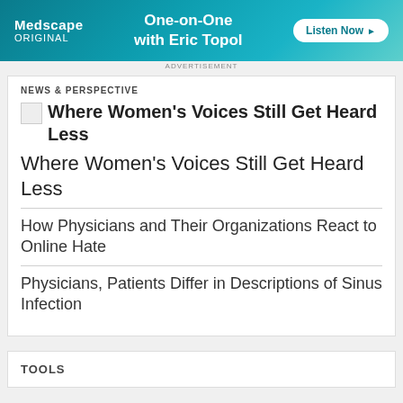[Figure (other): Medscape Original advertisement banner: 'One-on-One with Eric Topol — Listen Now']
ADVERTISEMENT
NEWS & PERSPECTIVE
[Figure (other): Broken image placeholder next to article title 'Where Women's Voices Still Get Heard Less']
Where Women's Voices Still Get Heard Less
How Physicians and Their Organizations React to Online Hate
Physicians, Patients Differ in Descriptions of Sinus Infection
TOOLS